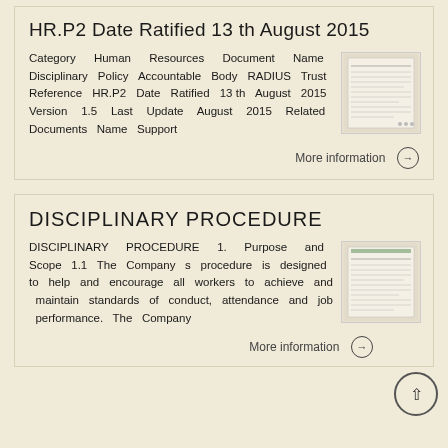HR.P2 Date Ratified 13 th August 2015
Category Human Resources Document Name Disciplinary Policy Accountable Body RADIUS Trust Reference HR.P2 Date Ratified 13 th August 2015 Version 1.5 Last Update August 2015 Related Documents Name Support
[Figure (other): Thumbnail image of a document page]
More information →
DISCIPLINARY PROCEDURE
DISCIPLINARY PROCEDURE 1. Purpose and Scope 1.1 The Company s procedure is designed to help and encourage all workers to achieve and maintain standards of conduct, attendance and job performance. The Company
[Figure (other): Thumbnail image of a document page]
More information →